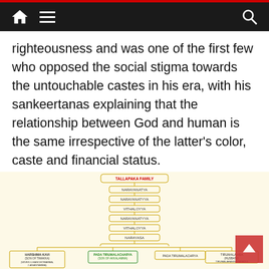Navigation bar with home, menu, and search icons
righteousness and was one of the first few who opposed the social stigma towards the untouchable castes in his era, with his sankeertanas explaining that the relationship between God and human is the same irrespective of the latter's color, caste and financial status.
[Figure (organizational-chart): Tallapaka Family genealogical/organizational chart showing lineage from TALLAPAKA FAMILY at top, descending through NARAYANAYYA, NARAYANAYYA, VITHALAYYA, NARAYANAYYA, VITHALAYYA, NARAYASA, NARAYANASUFI (WIFE: LAKSHAMAMBA), ANNAMACHORYA (highlighted in red/orange), then branching to (WIVES: 1. TIMAKKA, 2. AKKALAMMA), and further branches to HARSHIMA KAVI (SON OF TIMAKKA) with WIVES: 1. HANCHORAMMA, 2. ANANTAMMA; PADA TIRUMALACHARYA (SON OF AKKALAMMA) in green; PADA TIRUMALACHARYA; and TIRUMALAMBA (HUSBAND: TIRUMALARANGARAYADU)]